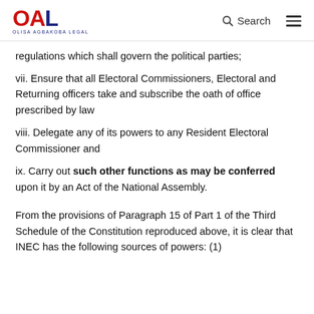OAL - OLISA AGBAKOBA LEGAL | Search
regulations which shall govern the political parties;
vii. Ensure that all Electoral Commissioners, Electoral and Returning officers take and subscribe the oath of office prescribed by law
viii. Delegate any of its powers to any Resident Electoral Commissioner and
ix. Carry out such other functions as may be conferred upon it by an Act of the National Assembly.
From the provisions of Paragraph 15 of Part 1 of the Third Schedule of the Constitution reproduced above, it is clear that INEC has the following sources of powers: (1)